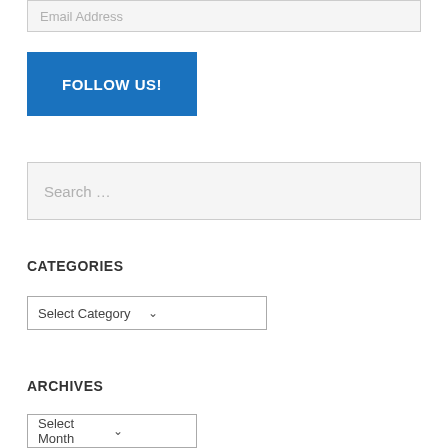Email Address
FOLLOW US!
Search ...
CATEGORIES
Select Category
ARCHIVES
Select Month